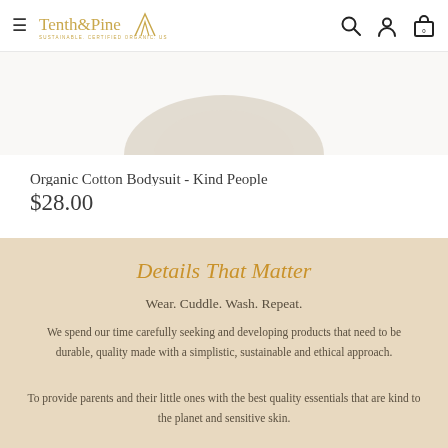Tenth & Pine — SUSTAINABLE. CERTIFIED ORGANIC. USA MADE.
[Figure (photo): Partial product photo of an organic cotton bodysuit, cropped at top]
Organic Cotton Bodysuit - Kind People
$28.00
Details That Matter
Wear. Cuddle. Wash. Repeat.
We spend our time carefully seeking and developing products that need to be durable, quality made with a simplistic, sustainable and ethical approach.
To provide parents and their little ones with the best quality essentials that are kind to the planet and sensitive skin.